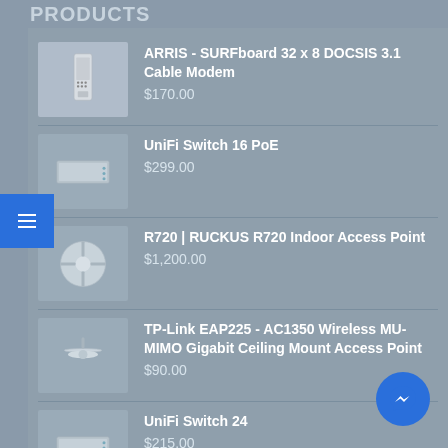PRODUCTS
ARRIS - SURFboard 32 x 8 DOCSIS 3.1 Cable Modem
$170.00
UniFi Switch 16 PoE
$299.00
R720 | RUCKUS R720 Indoor Access Point
$1,200.00
TP-Link EAP225 - AC1350 Wireless MU-MIMO Gigabit Ceiling Mount Access Point
$90.00
UniFi Switch 24
$215.00